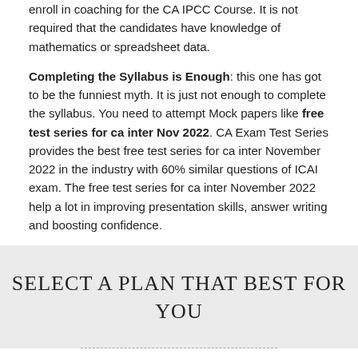enroll in coaching for the CA IPCC Course. It is not required that the candidates have knowledge of mathematics or spreadsheet data.
Completing the Syllabus is Enough: this one has got to be the funniest myth. It is just not enough to complete the syllabus. You need to attempt Mock papers like free test series for ca inter Nov 2022. CA Exam Test Series provides the best free test series for ca inter November 2022 in the industry with 60% similar questions of ICAI exam. The free test series for ca inter November 2022 help a lot in improving presentation skills, answer writing and boosting confidence.
SELECT A PLAN THAT BEST FOR YOU